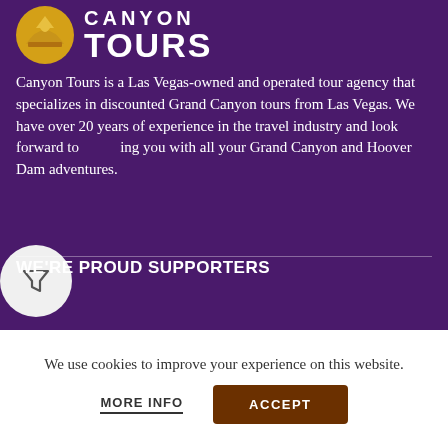[Figure (logo): Canyon Tours logo: yellow/gold circular icon with a hat shape, next to bold white text reading 'CANYON TOURS']
Canyon Tours is a Las Vegas-owned and operated tour agency that specializes in discounted Grand Canyon tours from Las Vegas. We have over 20 years of experience in the travel industry and look forward to ing you with all your Grand Canyon and Hoover Dam adventures.
WE'RE PROUD SUPPORTERS
We use cookies to improve your experience on this website.
MORE INFO
ACCEPT